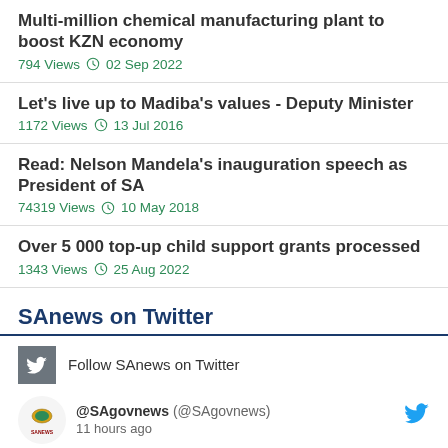Multi-million chemical manufacturing plant to boost KZN economy
794 Views  02 Sep 2022
Let's live up to Madiba's values - Deputy Minister
1172 Views  13 Jul 2016
Read: Nelson Mandela's inauguration speech as President of SA
74319 Views  10 May 2018
Over 5 000 top-up child support grants processed
1343 Views  25 Aug 2022
SAnews on Twitter
Follow SAnews on Twitter
@SAgovnews (@SAgovnews)
11 hours ago
[Read] The National Assembly has passed the Copyright Amendment Bill and the Performers' Protection Amendment